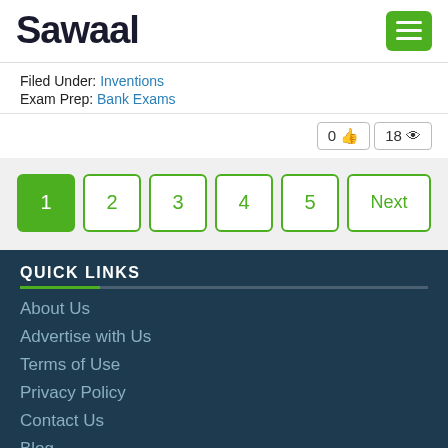Sawaal
Filed Under: Inventions
Exam Prep: Bank Exams
0 👍  18 👁
1  2  3  4  5  Next
QUICK LINKS
About Us
Advertise with Us
Terms of Use
Privacy Policy
Contact Us
Blog